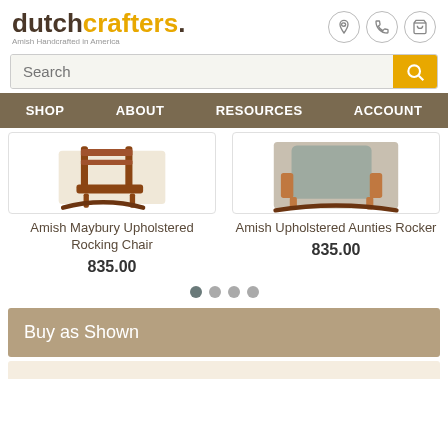[Figure (logo): DutchCrafters logo with tagline 'Amish Handcrafted in America']
Search
SHOP  ABOUT  RESOURCES  ACCOUNT
[Figure (photo): Amish Maybury Upholstered Rocking Chair product image]
Amish Maybury Upholstered Rocking Chair
835.00
[Figure (photo): Amish Upholstered Aunties Rocker product image]
Amish Upholstered Aunties Rocker
835.00
Buy as Shown